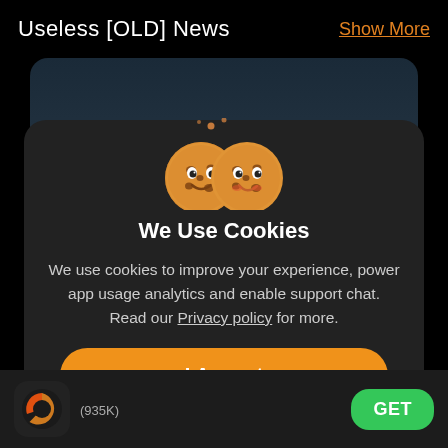Useless [OLD] News  Show More
[Figure (illustration): Two cartoon cookie characters with smiling faces, floating cookie crumbs around them, displayed above a cookie consent dialog]
We Use Cookies
We use cookies to improve your experience, power app usage analytics and enable support chat. Read our Privacy policy for more.
I Accept
Manage
[Figure (logo): App icon showing an orange circular chart/clock logo on dark background]
(935K)
GET